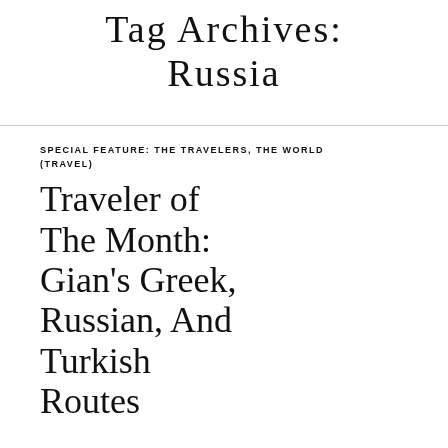Tag Archives: Russia
SPECIAL FEATURE: THE TRAVELERS, THE WORLD (TRAVEL)
Traveler of The Month: Gian's Greek, Russian, And Turkish Routes